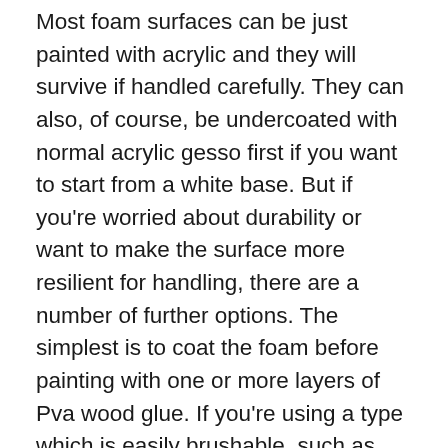Most foam surfaces can be just painted with acrylic and they will survive if handled carefully. They can also, of course, be undercoated with normal acrylic gesso first if you want to start from a white base. But if you're worried about durability or want to make the surface more resilient for handling, there are a number of further options. The simplest is to coat the foam before painting with one or more layers of Pva wood glue. If you're using a type which is easily brushable, such as one of the cheaper 'school glue' types this can be used as it is. The more professional wood glues such as Evo Stik Wood may need just a touch of water to help brushing them on more easily. Since Pva contracts a lot when drying there's little danger of losing the surface detail .. but you will notice a very slight difference. An even tougher surface can be achieved using a special medium called Paverpol which is made in the US but available here. It is a paste-based medium for